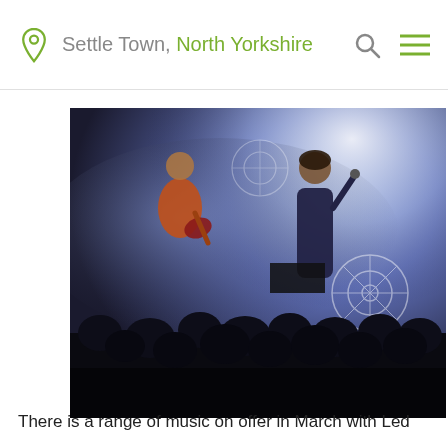Settle Town, North Yorkshire
[Figure (photo): Concert photo showing two performers on a dark smoky stage with blue and white lighting effects. One performer plays a red guitar and another stands holding a microphone. A crowd of silhouettes is visible in the foreground. Decorative wheel/mandala patterns are projected in the background.]
There is a range of music on offer in March with Led